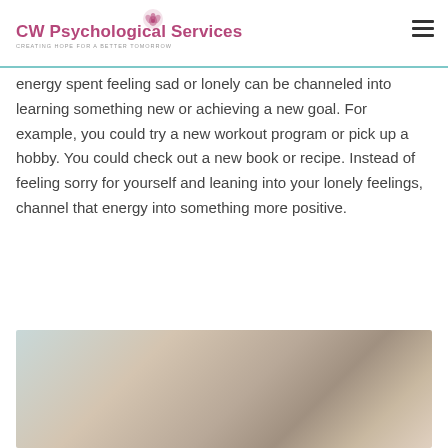CW Psychological Services — CREATING HOPE FOR A BETTER TOMORROW
energy spent feeling sad or lonely can be channeled into learning something new or achieving a new goal. For example, you could try a new workout program or pick up a hobby. You could check out a new book or recipe. Instead of feeling sorry for yourself and leaning into your lonely feelings, channel that energy into something more positive.
[Figure (photo): A blurred close-up photo showing a person, likely reading or holding something, with soft warm and cool tones suggesting an introspective or calm moment.]